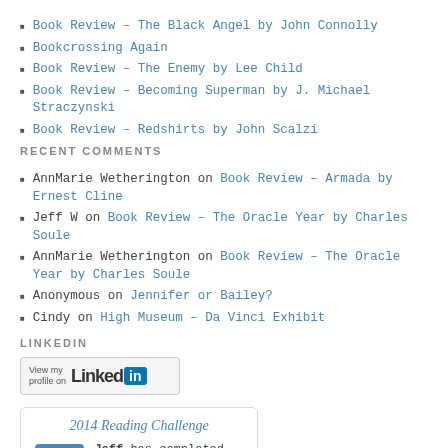Book Review – The Black Angel by John Connolly
Bookcrossing Again
Book Review – The Enemy by Lee Child
Book Review – Becoming Superman by J. Michael Straczynski
Book Review – Redshirts by John Scalzi
RECENT COMMENTS
AnnMarie Wetherington on Book Review – Armada by Ernest Cline
Jeff W on Book Review – The Oracle Year by Charles Soule
AnnMarie Wetherington on Book Review – The Oracle Year by Charles Soule
Anonymous on Jennifer or Bailey?
Cindy on High Museum – Da Vinci Exhibit
LINKEDIN
[Figure (logo): LinkedIn profile badge button showing 'View my profile on Linked in' with the LinkedIn logo]
[Figure (infographic): 2014 Reading Challenge box with title '2014 Reading Challenge' and text 'Jeff has completed his goal']